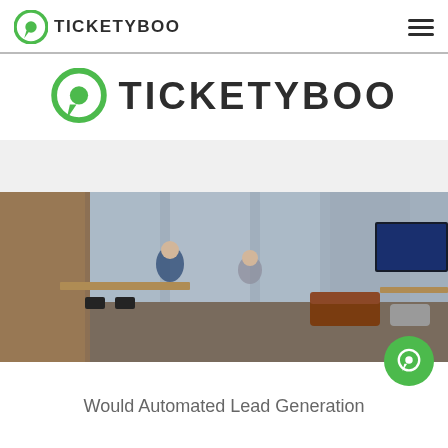TICKETYBOO (navigation bar with logo and hamburger menu)
[Figure (logo): Ticketyboo centered logo with large green speech-bubble icon and bold TICKETYBOO text]
[Figure (photo): Wide open-plan office with people working at desks, large windows, plants, and a TV screen on the right wall]
Would Automated Lead Generation